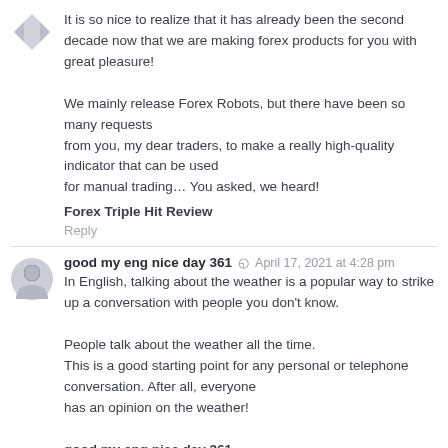It is so nice to realize that it has already been the second decade now that we are making forex products for you with great pleasure! We mainly release Forex Robots, but there have been so many requests from you, my dear traders, to make a really high-quality indicator that can be used for manual trading… You asked, we heard!
Forex Triple Hit Review
Reply
good my eng nice day 361  April 17, 2021 at 4:28 pm
In English, talking about the weather is a popular way to strike up a conversation with people you don't know.

People talk about the weather all the time.
This is a good starting point for any personal or telephone conversation. After all, everyone has an opinion on the weather!
good my eng nice day 361